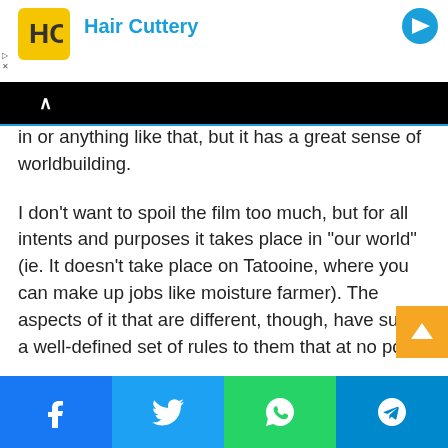[Figure (other): Hair Cuttery advertisement banner with logo]
in or anything like that, but it has a great sense of worldbuilding.
I don't want to spoil the film too much, but for all intents and purposes it takes place in "our world" (ie. It doesn't take place on Tatooine, where you can make up jobs like moisture farmer). The aspects of it that are different, though, have such a well-defined set of rules to them that at no point do you ever actually get them specifically explained to you, and yet anyone who's seen that film can tell you what they are.
That's the power of worldbuilding, baby, and it makes sure that, in every scene of that film, you know exactly what the
[Figure (other): Social share buttons: Facebook, Twitter, WhatsApp, Telegram]